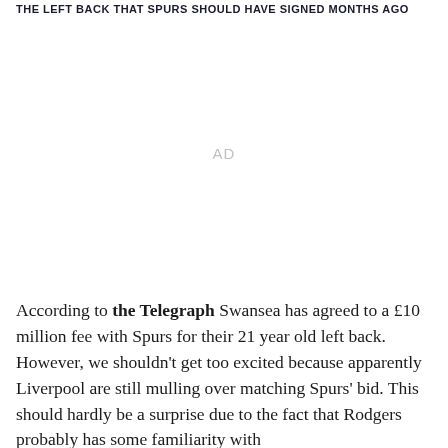THE LEFT BACK THAT SPURS SHOULD HAVE SIGNED MONTHS AGO
[Figure (other): Advertisement placeholder area labeled AD]
According to the Telegraph Swansea has agreed to a £10 million fee with Spurs for their 21 year old left back. However, we shouldn't get too excited because apparently Liverpool are still mulling over matching Spurs' bid. This should hardly be a surprise due to the fact that Rodgers probably has some familiarity with